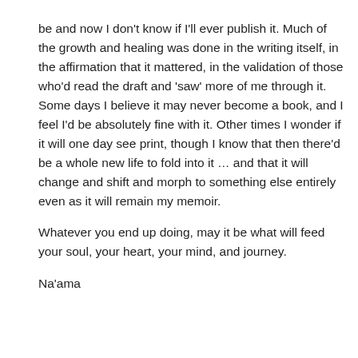be and now I don't know if I'll ever publish it. Much of the growth and healing was done in the writing itself, in the affirmation that it mattered, in the validation of those who'd read the draft and 'saw' more of me through it. Some days I believe it may never become a book, and I feel I'd be absolutely fine with it. Other times I wonder if it will one day see print, though I know that then there'd be a whole new life to fold into it … and that it will change and shift and morph to something else entirely even as it will remain my memoir.
Whatever you end up doing, may it be what will feed your soul, your heart, your mind, and journey.
Na'ama